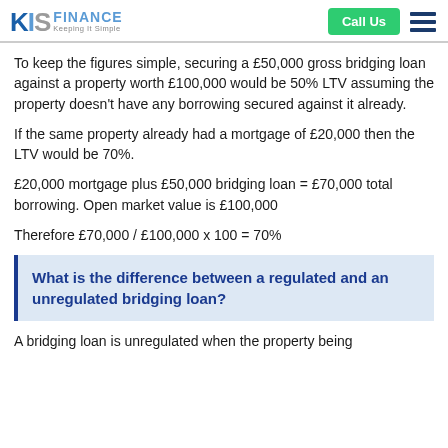KIS FINANCE Keeping It Simple | Call Us
To keep the figures simple, securing a £50,000 gross bridging loan against a property worth £100,000 would be 50% LTV assuming the property doesn't have any borrowing secured against it already.
If the same property already had a mortgage of £20,000 then the LTV would be 70%.
£20,000 mortgage plus £50,000 bridging loan = £70,000 total borrowing. Open market value is £100,000
Therefore £70,000 / £100,000 x 100 = 70%
What is the difference between a regulated and an unregulated bridging loan?
A bridging loan is unregulated when the property being